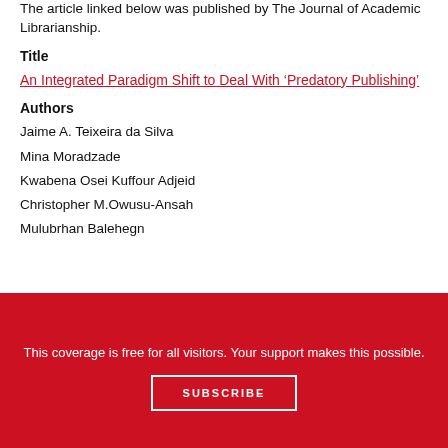The article linked below was published by The Journal of Academic Librarianship.
Title
An Integrated Paradigm Shift to Deal With 'Predatory Publishing'
Authors
Jaime A. Teixeira da Silva
Mina Moradzade
Kwabena Osei Kuffour Adjeid
Christopher M.Owusu-Ansah
Mulubrhan Balehegn
This coverage is free for all visitors. Your support makes this possible.
SUBSCRIBE